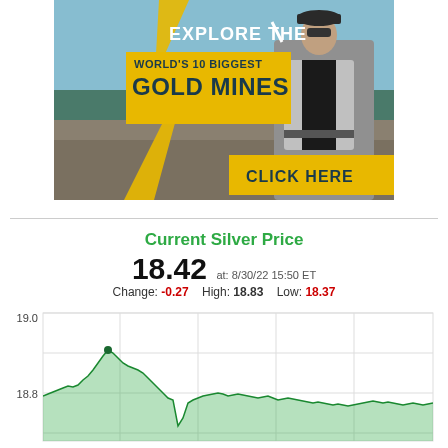[Figure (photo): Advertisement banner: outdoor photo with man in sunglasses and blazer at a mining site, with text overlay 'EXPLORE THE WORLD'S 10 BIGGEST GOLD MINES - CLICK HERE' and gold lightning bolt graphic]
Current Silver Price
18.42 at: 8/30/22 15:50 ET
Change: -0.27  High: 18.83  Low: 18.37
[Figure (continuous-plot): Intraday silver price line chart showing price ranging from ~18.37 to ~18.83 on 8/30/22, with green filled area below the line. Y-axis shows 18.8 and 19.0 labels. Price peaks around midday then declines.]